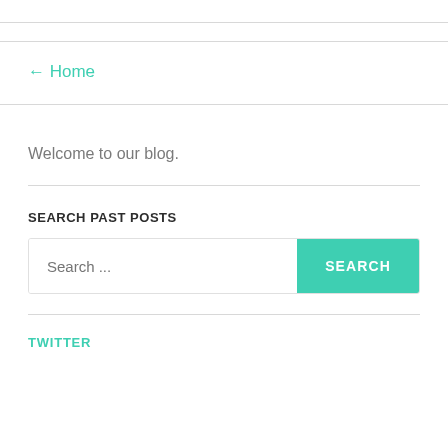← Home
Welcome to our blog.
SEARCH PAST POSTS
Search ...
TWITTER